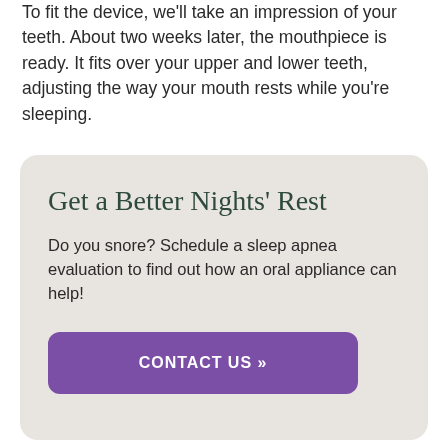To fit the device, we'll take an impression of your teeth. About two weeks later, the mouthpiece is ready. It fits over your upper and lower teeth, adjusting the way your mouth rests while you're sleeping.
Get a Better Nights' Rest
Do you snore? Schedule a sleep apnea evaluation to find out how an oral appliance can help!
CONTACT US »